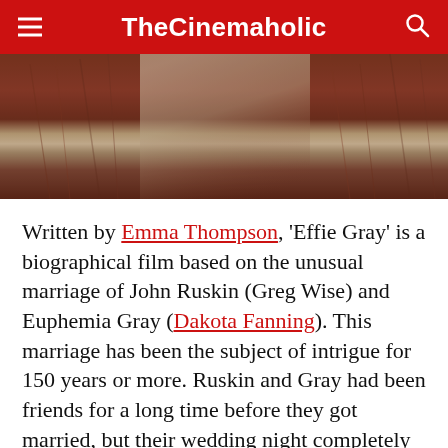TheCinemaholic
[Figure (photo): Close-up photo showing fur and feathers in dark reddish-brown tones]
Written by Emma Thompson, 'Effie Gray' is a biographical film based on the unusual marriage of John Ruskin (Greg Wise) and Euphemia Gray (Dakota Fanning). This marriage has been the subject of intrigue for 150 years or more. Ruskin and Gray had been friends for a long time before they got married, but their wedding night completely changes their equation.